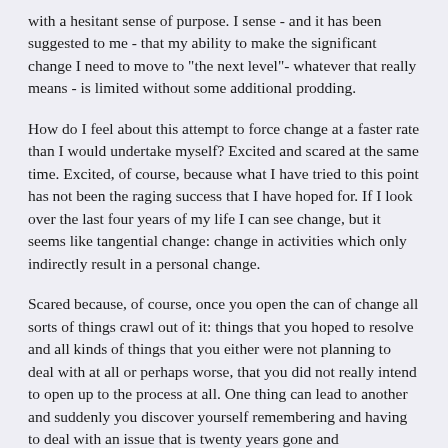with a hesitant sense of purpose.  I sense - and it has been suggested to me - that my ability to make the significant change I need to move to "the next level"- whatever that really means - is limited without some additional prodding.
How do I feel about this attempt to force change at a faster rate than I would undertake myself?  Excited and scared at the same time.  Excited, of course, because what I have tried to this point has not been the raging success that I have hoped for.  If I look over the last four years of my life I can see change, but it seems like tangential change:  change in activities which only indirectly result in a personal change.
Scared because, of course, once you open the can of change all sorts of things crawl out of it:  things that you hoped to resolve and all kinds of things that you either were not planning to deal with at all or perhaps worse, that you did not really intend to open up to the process at all.  One thing can lead to another and suddenly you discover yourself remembering and having to deal with an issue that is twenty years gone and (theoretically) forgotten.
It is at moment like these - when I turn away from pursuing the